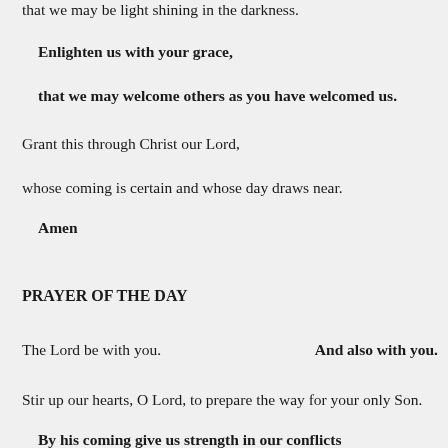that we may be light shining in the darkness.
Enlighten us with your grace,
that we may welcome others as you have welcomed us.
Grant this through Christ our Lord,
whose coming is certain and whose day draws near.
Amen
PRAYER OF THE DAY
The Lord be with you.                        And also with you.
Stir up our hearts, O Lord, to prepare the way for your only Son.
By his coming give us strength in our conflicts